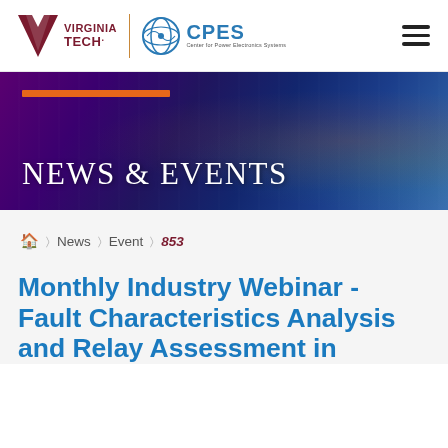[Figure (logo): Virginia Tech and CPES (Center for Power Electronics Systems) logos in the header navigation bar]
[Figure (illustration): Hamburger menu icon (three horizontal lines) in top right]
[Figure (illustration): NEWS & EVENTS banner with dark purple/blue gradient background, orange accent bar, and white serif title text]
🏠 > News > Event > 853
Monthly Industry Webinar - Fault Characteristics Analysis and Relay Assessment in